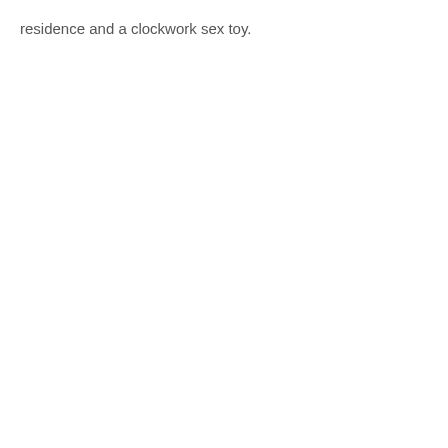residence and a clockwork sex toy.